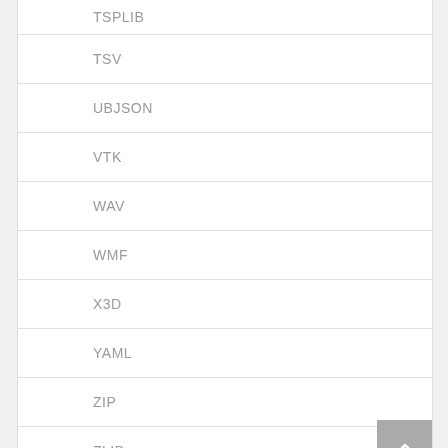TSPLIB
TSV
UBJSON
VTK
WAV
WMF
X3D
YAML
ZIP
ZLIB
+ Input